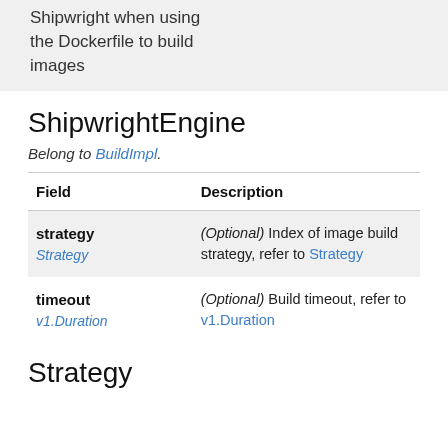Shipwright when using the Dockerfile to build images
ShipwrightEngine
Belong to BuildImpl.
| Field | Description |
| --- | --- |
| strategy
Strategy | (Optional) Index of image build strategy, refer to Strategy |
| timeout
v1.Duration | (Optional) Build timeout, refer to v1.Duration |
Strategy